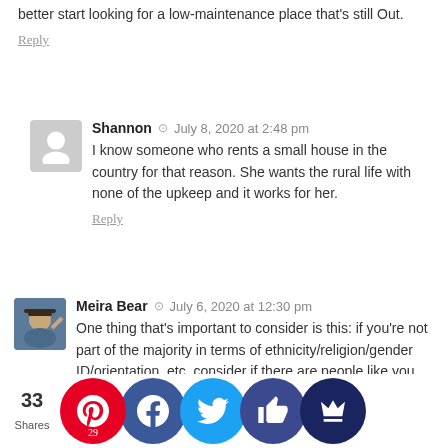better start looking for a low-maintenance place that's still Out.
Reply
Shannon · July 8, 2020 at 2:48 pm
I know someone who rents a small house in the country for that reason. She wants the rural life with none of the upkeep and it works for her.
Reply
Meira Bear · July 6, 2020 at 12:30 pm
One thing that's important to consider is this: if you're not part of the majority in terms of ethnicity/religion/gender ID/orientation, etc, consider if there are people like you around. Are you comfortable being the only Jew, or the only two-dad family, or the only Black person in the town? How far away are you from your community? Most rural areas will give you options of churches, but where's the nearest mosque? These issues can be huge to quality of life, and are important to c... We all should diverse... unities th... be de... iness o... you don't... thers h...
33 Shares